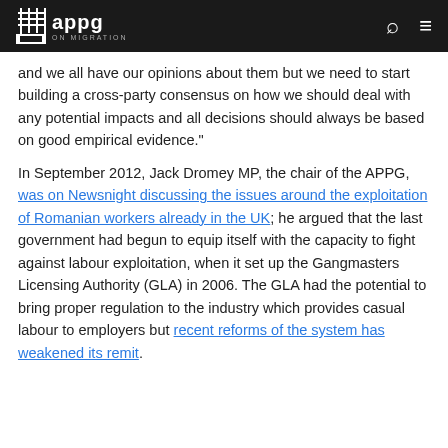APPG ON MIGRATION
and we all have our opinions about them but we need to start building a cross-party consensus on how we should deal with any potential impacts and all decisions should always be based on good empirical evidence."
In September 2012, Jack Dromey MP, the chair of the APPG, was on Newsnight discussing the issues around the exploitation of Romanian workers already in the UK; he argued that the last government had begun to equip itself with the capacity to fight against labour exploitation, when it set up the Gangmasters Licensing Authority (GLA) in 2006. The GLA had the potential to bring proper regulation to the industry which provides casual labour to employers but recent reforms of the system has weakened its remit.